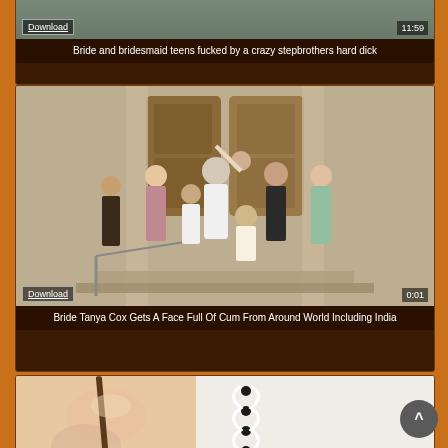[Figure (screenshot): Top portion of a video thumbnail card showing a download button and 11:59 duration, partially cut off at top]
Bride and bridesmaid teens fucked by a crazy stepbrothers hard dick
[Figure (screenshot): Video thumbnail showing a group of people outside a church building, vintage/retro photo style, with Download button and 0:01 duration overlay]
Bride Tanya Cox Gets A Face Full Of Cum From Around World Including India
[Figure (screenshot): Partial video thumbnail showing close-up of hands unlacing a white corset/dress, partially cut off at bottom of page]